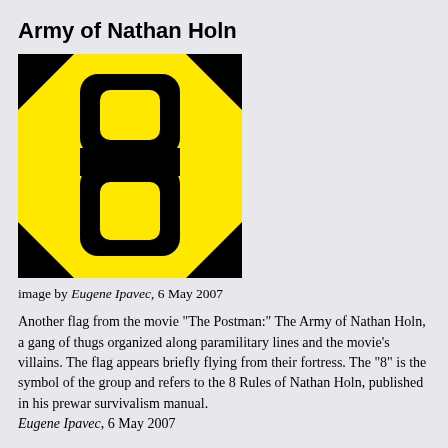Army of Nathan Holn
[Figure (illustration): Flag of the Army of Nathan Holn: black square background with a yellow octagon shape, and a bold black number 8 centered on yellow.]
image by Eugene Ipavec, 6 May 2007
Another flag from the movie "The Postman:" The Army of Nathan Holn, a gang of thugs organized along paramilitary lines and the movie's villains. The flag appears briefly flying from their fortress. The "8" is the symbol of the group and refers to the 8 Rules of Nathan Holn, published in his prewar survivalism manual. Eugene Ipavec, 6 May 2007